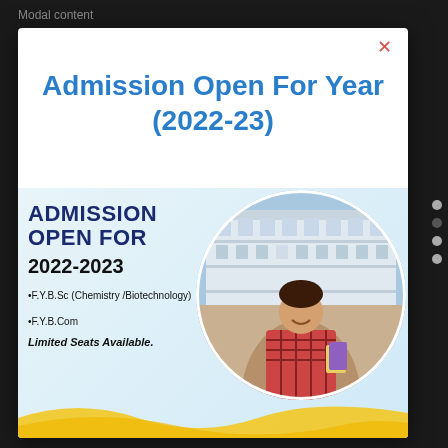Modal content
Admission Open For Year (2022-23)
[Figure (photo): Circular composite image showing a college building (white multi-storey building) in the upper portion and a smiling female student holding books in the lower portion, overlapping as a circular cutout photo]
ADMISSION OPEN FOR
2022-2023
•F.Y.B.Sc (Chemistry /Biotechnology)
•F.Y.B.Com
Limited Seats Available.